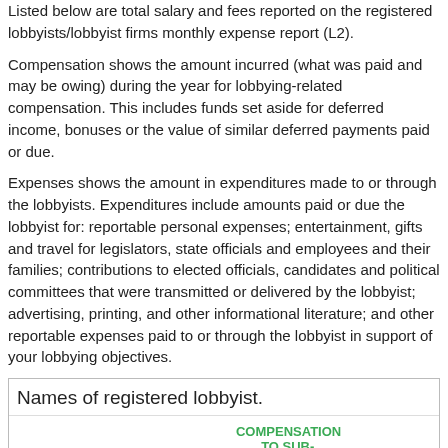Listed below are total salary and fees reported on the registered lobbyists/lobbyist firms monthly expense report (L2).
Compensation shows the amount incurred (what was paid and may be owing) during the year for lobbying-related compensation. This includes funds set aside for deferred income, bonuses or the value of similar deferred payments paid or due.
Expenses shows the amount in expenditures made to or through the lobbyists. Expenditures include amounts paid or due the lobbyist for: reportable personal expenses; entertainment, gifts and travel for legislators, state officials and employees and their families; contributions to elected officials, candidates and political committees that were transmitted or delivered by the lobbyist; advertising, printing, and other informational literature; and other reportable expenses paid to or through the lobbyist in support of your lobbying objectives.
Names of registered lobbyist.
| NAME | COMPENSATION | COMPENSATION TO SUB-LOBBYIST | EXPE... |
| --- | --- | --- | --- |
| ROBIN | $33264.00 | $0.00 | $483... |